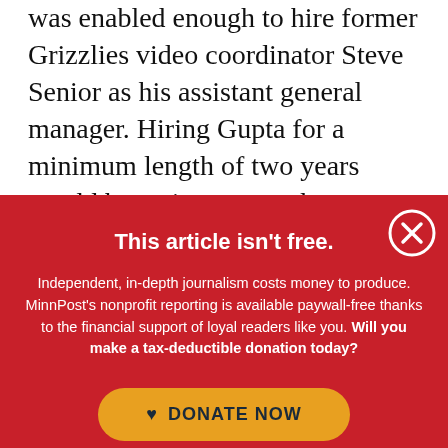was enabled enough to hire former Grizzlies video coordinator Steve Senior as his assistant general manager. Hiring Gupta for a minimum length of two years would be a nice cap on these indications of ongoing harmony over personnel decisions among ownership and the front office.
This article isn't free.
Independent, in-depth journalism costs money to produce. MinnPost's nonprofit reporting is available paywall-free thanks to the financial support of loyal readers like you. Will you make a tax-deductible donation today?
DONATE NOW